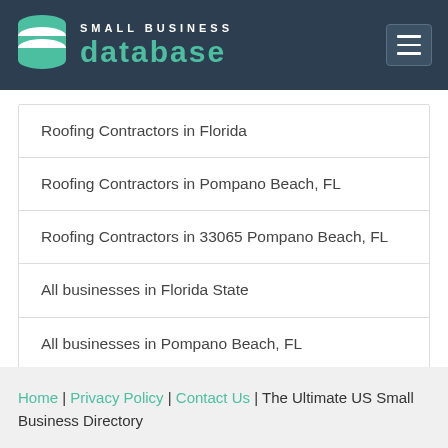SMALL BUSINESS DATABASE
Roofing Contractors in Florida
Roofing Contractors in Pompano Beach, FL
Roofing Contractors in 33065 Pompano Beach, FL
All businesses in Florida State
All businesses in Pompano Beach, FL
All businesses in 33065 Pompano Beach, FL
Home | Privacy Policy | Contact Us | The Ultimate US Small Business Directory